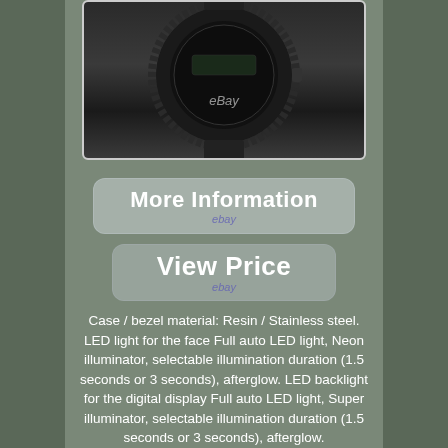[Figure (photo): A black G-Shock style sports watch with rubber strap, shown from above against a white background with an eBay watermark]
[Figure (other): Button labeled 'More Information' with eBay logo underneath, on a rounded rectangle with semi-transparent background]
[Figure (other): Button labeled 'View Price' with eBay logo underneath, on a rounded rectangle with semi-transparent background]
Case / bezel material: Resin / Stainless steel. LED light for the face Full auto LED light, Neon illuminator, selectable illumination duration (1.5 seconds or 3 seconds), afterglow. LED backlight for the digital display Full auto LED light, Super illuminator, selectable illumination duration (1.5 seconds or 3 seconds), afterglow.